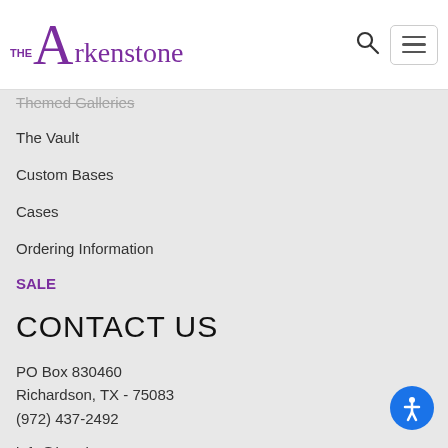[Figure (logo): The Arkenstone logo in purple text with serif A and sans-serif 'THE' above]
Themed Galleries
The Vault
Custom Bases
Cases
Ordering Information
SALE
CONTACT US
PO Box 830460
Richardson, TX - 75083
(972) 437-2492
info@iRocks.com
[Figure (illustration): Social media icons: Facebook, Pinterest, Instagram]